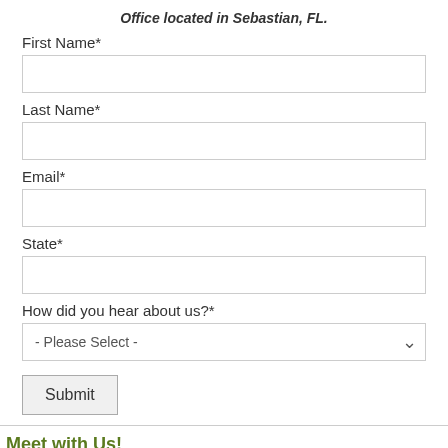Office located in Sebastian, FL.
First Name*
Last Name*
Email*
State*
How did you hear about us?*
- Please Select -
Submit
Meet with Us!
[Figure (map): Map thumbnail showing location near Sebastian, FL]